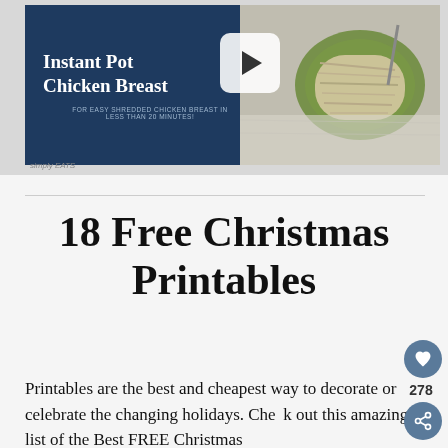[Figure (screenshot): Video thumbnail for Instant Pot Chicken Breast recipe. Left side has dark navy background with white bold title text 'Instant Pot Chicken Breast' and subtitle 'FOR EASY SHREDDED CHICKEN BREAST IN LESS THAN 20 MINUTES!'. A play button icon overlaps the center. Right side shows a photo of shredded chicken in a green bowl.]
18 Free Christmas Printables
Printables are the best and cheapest way to decorate or celebrate the changing holidays. Check out this amazing list of the Best FREE Christmas